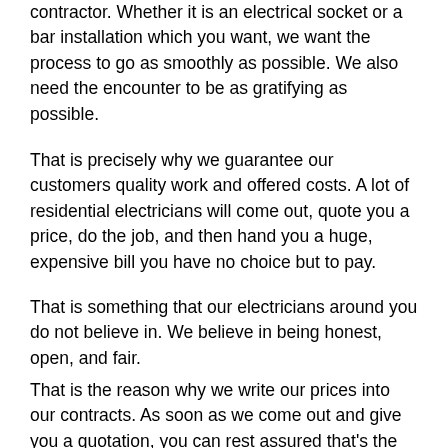contractor. Whether it is an electrical socket or a bar installation which you want, we want the process to go as smoothly as possible. We also need the encounter to be as gratifying as possible.
That is precisely why we guarantee our customers quality work and offered costs. A lot of residential electricians will come out, quote you a price, do the job, and then hand you a huge, expensive bill you have no choice but to pay.
That is something that our electricians around you do not believe in. We believe in being honest, open, and fair.
That is the reason why we write our prices into our contracts. As soon as we come out and give you a quotation, you can rest assured that's the exact price that you will pay when the job is done! Nothing more, nothing less...